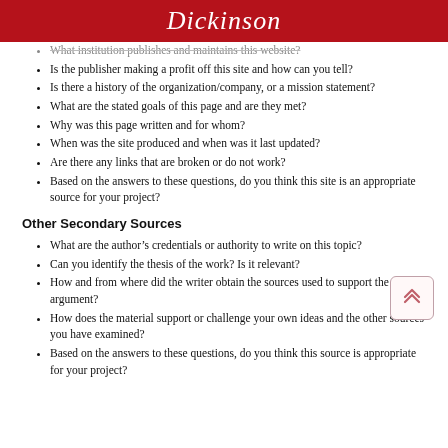Dickinson
What institution publishes and maintains this website?
Is the publisher making a profit off this site and how can you tell?
Is there a history of the organization/company, or a mission statement?
What are the stated goals of this page and are they met?
Why was this page written and for whom?
When was the site produced and when was it last updated?
Are there any links that are broken or do not work?
Based on the answers to these questions, do you think this site is an appropriate source for your project?
Other Secondary Sources
What are the author’s credentials or authority to write on this topic?
Can you identify the thesis of the work? Is it relevant?
How and from where did the writer obtain the sources used to support the argument?
How does the material support or challenge your own ideas and the other sources you have examined?
Based on the answers to these questions, do you think this source is appropriate for your project?